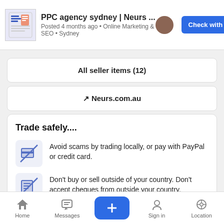PPC agency sydney | Neurs ... Posted 4 months ago • Online Marketing & SEO • Sydney  Check with seller
All seller items (12)
Neurs.com.au
Trade safely....
Avoid scams by trading locally, or pay with PayPal or credit card.
Don't buy or sell outside of your country. Don't accept cheques from outside your country.
See our Trade Safely page for more information.
Report listing
Home  Messages  +  Sign in  Location